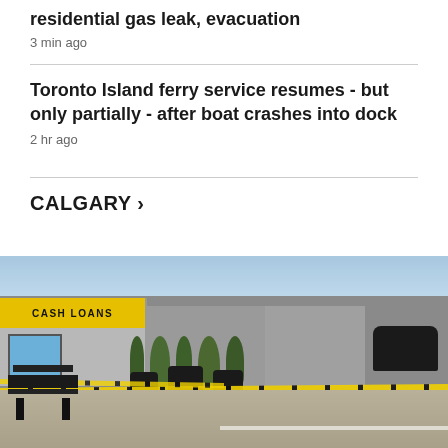residential gas leak, evacuation
3 min ago
Toronto Island ferry service resumes - but only partially - after boat crashes into dock
2 hr ago
CALGARY >
[Figure (photo): Street scene taped off with yellow police tape in front of a strip mall with a yellow 'CASH LOANS' sign. A wooden bench is visible in the foreground, potted plants line the sidewalk, and a dark SUV is parked in the background.]